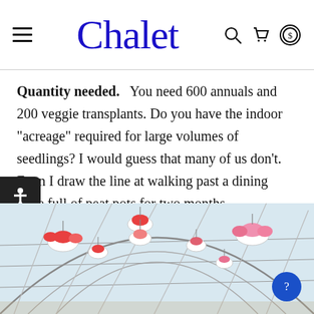Chalet
Quantity needed. You need 600 annuals and 200 veggie transplants. Do you have the indoor “acreage” required for large volumes of seedlings? I would guess that many of us don’t. Even I draw the line at walking past a dining table full of peat pots for two months.
[Figure (photo): Greenhouse interior with hanging baskets of red and pink flowers suspended from a curved metal frame structure, bright white sky visible through the roof.]